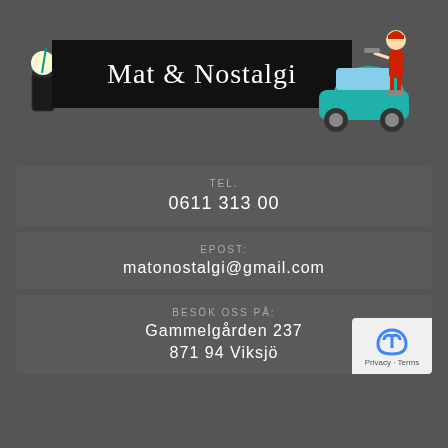[Figure (logo): Mat & Nostalgi restaurant logo with black banner text, retro diner illustrations including milkshake, taco/burger on left, and vintage car with carhop waitress on right]
TEL.
0611 313 00
EPOST:
matonostalgi@gmail.com
BESÖK OSS PÅ:
Gammelgården 237
871 94 Viksjö